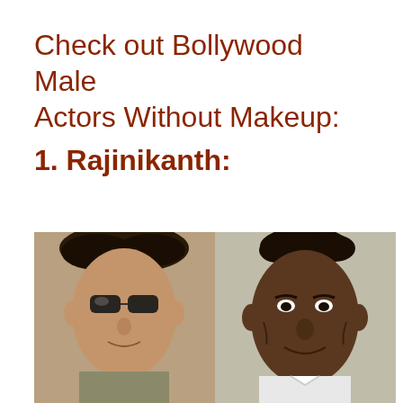Check out Bollywood Male Actors Without Makeup:
1. Rajinikanth:
[Figure (photo): Side-by-side comparison photos of Rajinikanth: left photo shows him with sunglasses and styled hair (with makeup), right photo shows him in natural appearance without makeup, older looking with sparse hair]